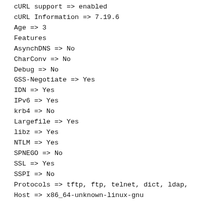cURL support => enabled
cURL Information => 7.19.6
Age => 3
Features
AsynchDNS => No
CharConv => No
Debug => No
GSS-Negotiate => Yes
IDN => Yes
IPv6 => Yes
krb4 => No
Largefile => Yes
libz => Yes
NTLM => Yes
SPNEGO => No
SSL => Yes
SSPI => No
Protocols => tftp, ftp, telnet, dict, ldap,
Host => x86_64-unknown-linux-gnu